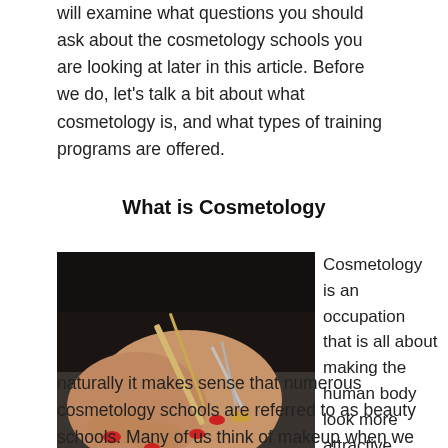will examine what questions you should ask about the cosmetology schools you are looking at later in this article. Before we do, let's talk a bit about what cosmetology is, and what types of training programs are offered.
What is Cosmetology
[Figure (photo): Close-up photograph of a person with red nail polish using scissors and a comb to cut or style hair on another person's head. The stylist is wearing a black top.]
Cosmetology is an occupation that is all about making the human body look more attractive through the application of cosmetics. So naturally it makes sense that numerous cosmetology schools are referred to as beauty schools. Many of us think of makeup when we hear the term cosmetics, but basically a cosmetic can be anything that enhances the appearance of a